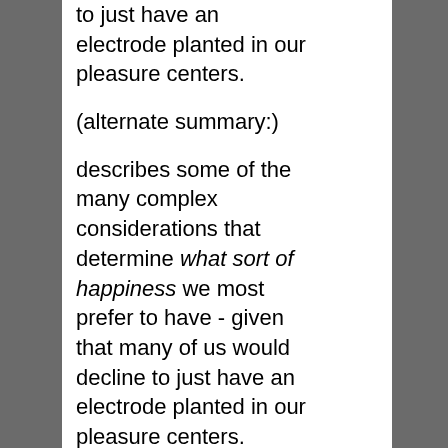to just have an electrode planted in our pleasure centers.
(alternate summary:)
describes some of the many complex considerations that determine what sort of happiness we most prefer to have - given that many of us would decline to just have an electrode planted in our pleasure centers.